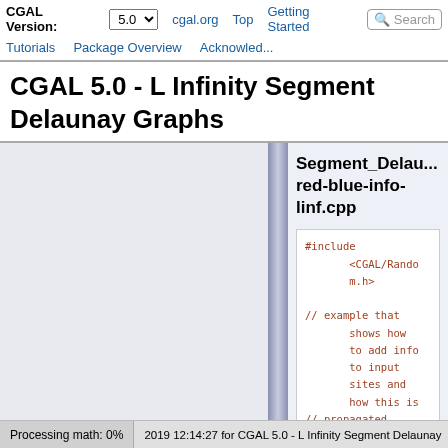CGAL Version: 5.0   cgal.org   Top   Getting Started   Tutorials   Package Overview   Acknowledgements   Search
CGAL 5.0 - L Infinity Segment Delaunay Graphs
Segment_Delaunay red-blue-info-linf.cpp
#include <CGAL/Random.h>

// example that shows how to add info to input sites and how this is
// propagated using the storage
Processing math: 0%   2019 12:14:27 for CGAL 5.0 - L Infinity Segment Delaunay